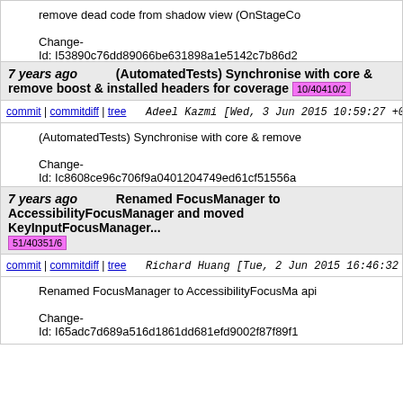remove dead code from shadow view (OnStageCo

Change-
Id: I53890c76dd89066be631898a1e5142c7b86d2
7 years ago   (AutomatedTests) Synchronise with core & remove boost & installed headers for coverage  10/40410/2
commit | commitdiff | tree   Adeel Kazmi [Wed, 3 Jun 2015 10:59:27 +0000 (11:59 +0100)]
(AutomatedTests) Synchronise with core & remove

Change-
Id: Ic8608ce96c706f9a0401204749ed61cf51556a
7 years ago   Renamed FocusManager to AccessibilityFocusManager and moved KeyInputFocusManager...  51/40351/6
commit | commitdiff | tree   Richard Huang [Tue, 2 Jun 2015 16:46:32 +0000 (17:46 +0100)]
Renamed FocusManager to AccessibilityFocusMa api

Change-
Id: I65adc7d689a516d1861dd681efd9002f87f89f1